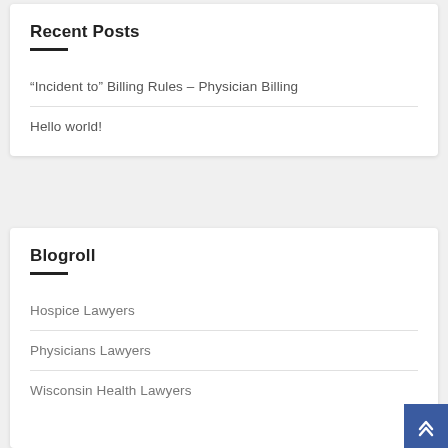Recent Posts
“Incident to” Billing Rules – Physician Billing
Hello world!
Blogroll
Hospice Lawyers
Physicians Lawyers
Wisconsin Health Lawyers